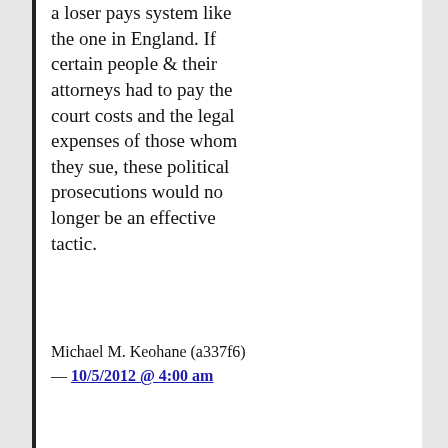a loser pays system like the one in England. If certain people & their attorneys had to pay the court costs and the legal expenses of those whom they sue, these political prosecutions would no longer be an effective tactic.
Michael M. Keohane (a337f6) — 10/5/2012 @ 4:00 am